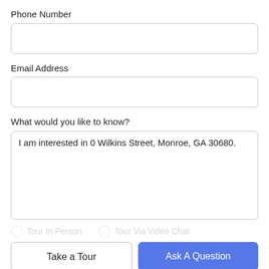Phone Number
Email Address
What would you like to know?
I am interested in 0 Wilkins Street, Monroe, GA 30680.
Tour In Person   Tour Via Video Chat
Take a Tour
Ask A Question